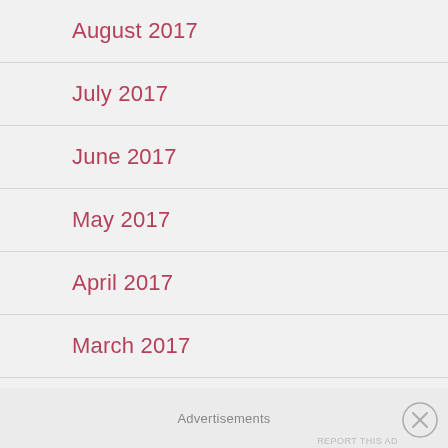August 2017
July 2017
June 2017
May 2017
April 2017
March 2017
September 2016
Advertisements
REPORT THIS AD